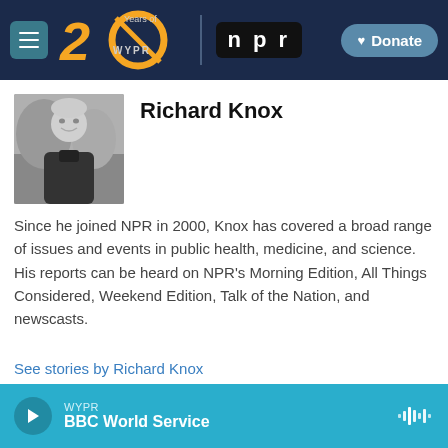[Figure (screenshot): WYPR 20 Years logo and NPR logo in navigation bar with Donate button]
Richard Knox
[Figure (photo): Black and white photo of Richard Knox smiling outdoors]
Since he joined NPR in 2000, Knox has covered a broad range of issues and events in public health, medicine, and science. His reports can be heard on NPR's Morning Edition, All Things Considered, Weekend Edition, Talk of the Nation, and newscasts.
See stories by Richard Knox
WYPR BBC World Service